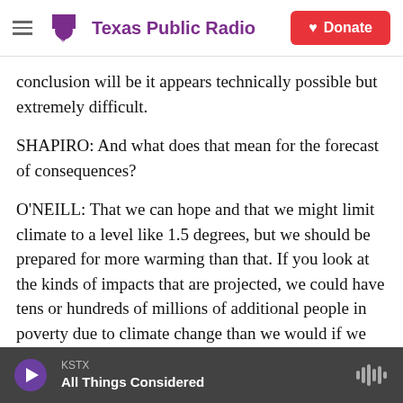Texas Public Radio | Donate
conclusion will be it appears technically possible but extremely difficult.
SHAPIRO: And what does that mean for the forecast of consequences?
O'NEILL: That we can hope and that we might limit climate to a level like 1.5 degrees, but we should be prepared for more warming than that. If you look at the kinds of impacts that are projected, we could have tens or hundreds of millions of additional people in poverty due to climate change than we would if we weren't experiencing that climate
KSTX | All Things Considered